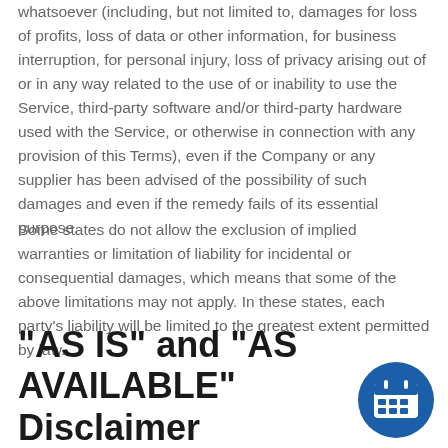whatsoever (including, but not limited to, damages for loss of profits, loss of data or other information, for business interruption, for personal injury, loss of privacy arising out of or in any way related to the use of or inability to use the Service, third-party software and/or third-party hardware used with the Service, or otherwise in connection with any provision of this Terms), even if the Company or any supplier has been advised of the possibility of such damages and even if the remedy fails of its essential purpose.
Some states do not allow the exclusion of implied warranties or limitation of liability for incidental or consequential damages, which means that some of the above limitations may not apply. In these states, each party's liability will be limited to the greatest extent permitted by law.
"AS IS" and "AS AVAILABLE" Disclaimer
[Figure (illustration): Blue circular icon with a calendar/grid symbol in white]